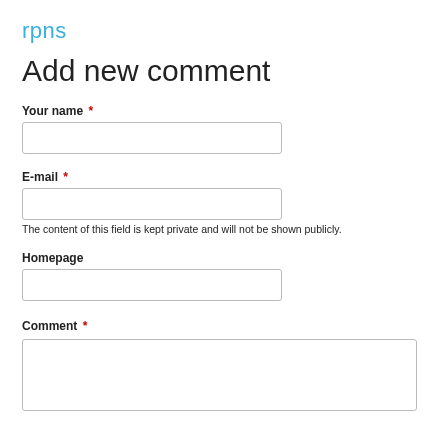rpns
Add new comment
Your name *
E-mail *
The content of this field is kept private and will not be shown publicly.
Homepage
Comment *